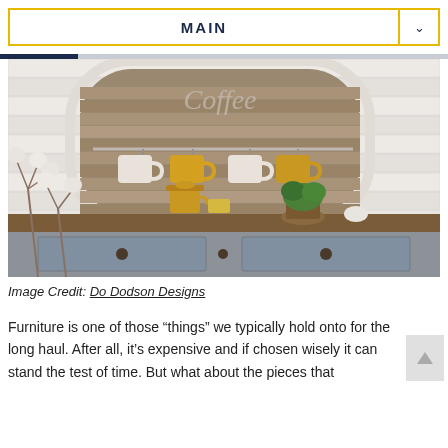MAIN
[Figure (photo): Farmhouse-style coffee station with a rustic wooden sign reading 'Coffee', mugs hanging on hooks, yellow ceramic coffee pots and creamers, a small potted green plant, and a gray painted dresser with round wooden knobs. Cotton branches in the foreground.]
Image Credit: Do Dodson Designs
Furniture is one of those “things” we typically hold onto for the long haul. After all, it’s expensive and if chosen wisely it can stand the test of time. But what about the pieces that